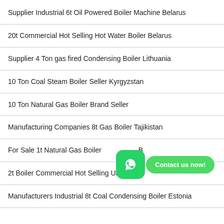Supplier Industrial 6t Oil Powered Boiler Machine Belarus
20t Commercial Hot Selling Hot Water Boiler Belarus
Supplier 4 Ton gas fired Condensing Boiler Lithuania
10 Ton Coal Steam Boiler Seller Kyrgyzstan
10 Ton Natural Gas Boiler Brand Seller
Manufacturing Companies 8t Gas Boiler Tajikistan
For Sale 1t Natural Gas Boiler B…
2t Boiler Commercial Hot Selling Ukraine
Manufacturers Industrial 8t Coal Condensing Boiler Estonia